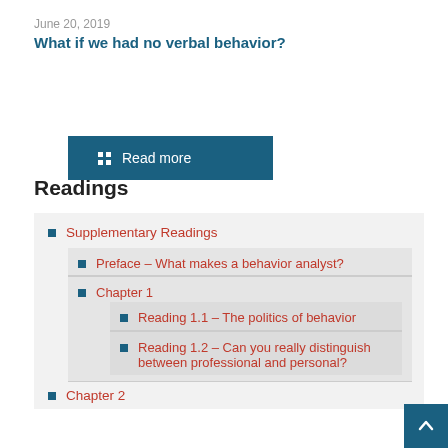June 20, 2019
What if we had no verbal behavior?
Read more
Readings
Supplementary Readings
Preface – What makes a behavior analyst?
Chapter 1
Reading 1.1 – The politics of behavior
Reading 1.2 – Can you really distinguish between professional and personal?
Chapter 2